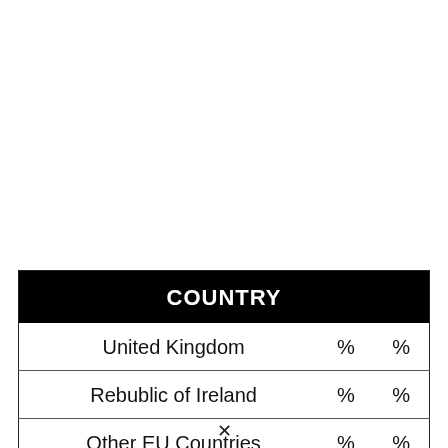| COUNTRY |  |  |
| --- | --- | --- |
| United Kingdom | % | % |
| Rebublic of Ireland | % | % |
| Other EU Countries | % | % |